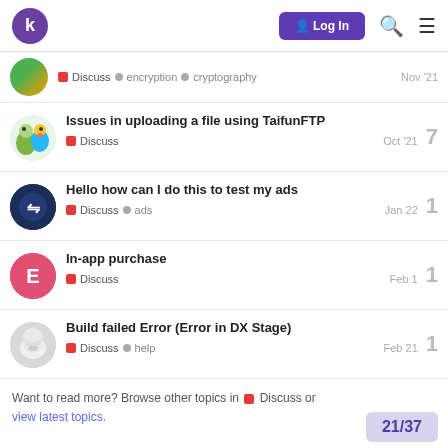k Log In
Discuss • encryption • cryptography — Nov '21
Issues in uploading a file using TaifunFTP — Discuss — Oct '21 — 7 replies
Hello how can I do this to test my ads — Discuss • ads — Jan 22 — 1 reply
In-app purchase — Discuss — Feb 1 — 1 reply
Build failed Error (Error in DX Stage) — Discuss • help — Feb 21 — 1 reply
Want to read more? Browse other topics in Discuss or view latest topics.
21/37